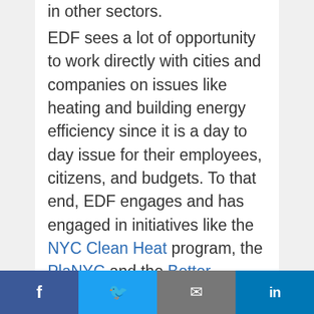in other sectors.
EDF sees a lot of opportunity to work directly with cities and companies on issues like heating and building energy efficiency since it is a day to day issue for their employees, citizens, and budgets. To that end, EDF engages and has engaged in initiatives like the NYC Clean Heat program, the PlaNYC and the Better Buildings Summit and is
f  [twitter]  [email]  in